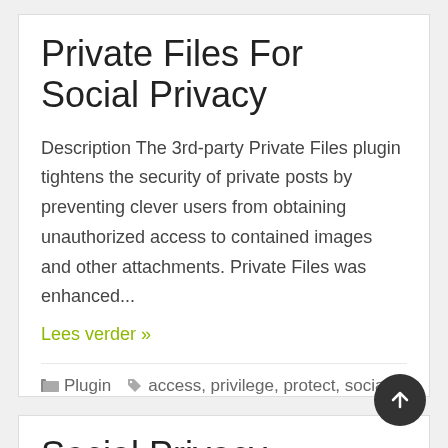Private Files For Social Privacy
Description The 3rd-party Private Files plugin tightens the security of private posts by preventing clever users from obtaining unauthorized access to contained images and other attachments. Private Files was enhanced...
Lees verder »
Plugin  access, privilege, protect, social
Social Privacy
Description Social Privacy is a set of open-source plugins for WordPress that restrict the read